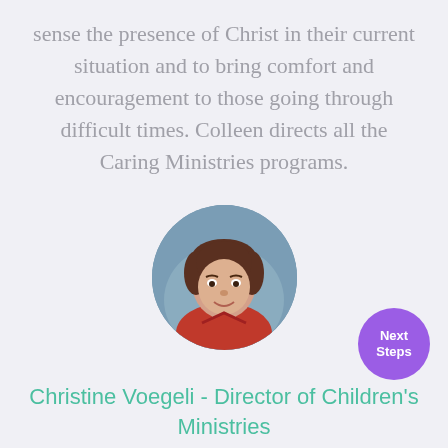sense the presence of Christ in their current situation and to bring comfort and encouragement to those going through difficult times. Colleen directs all the Caring Ministries programs.
[Figure (photo): Circular portrait photo of Christine Voegeli, a woman with short brown hair wearing a red top, photographed against a blue background.]
Christine Voegeli - Director of Children's Ministries
Christine is a native New Jerseyite who